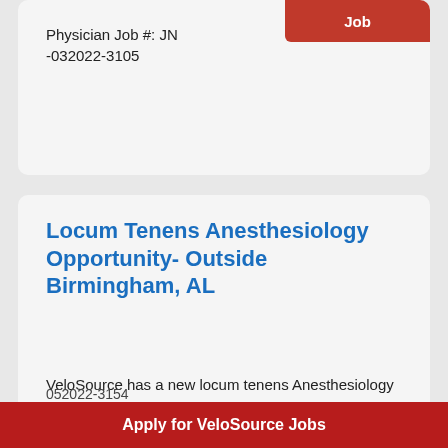Job
Physician Job #: JN -032022-3105
Locum Tenens Anesthesiology Opportunity- Outside Birmingham, AL
VeloSource has a new locum tenens Anesthesiology opportunity an hour from Birmingham, Alabama.- Hospital- Monday-Friday... Read More
Anesthesiology Locum Tenens Job
Birmingham, Alabama
View Anesthesiology Job
Apply for VeloSource Jobs
052022-3154